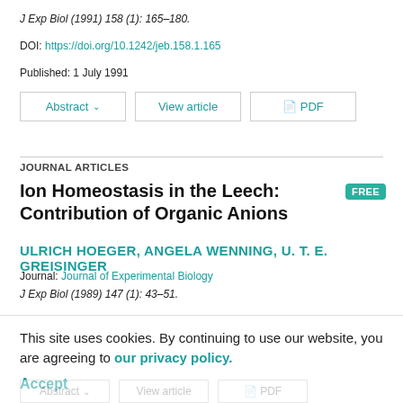J Exp Biol (1991) 158 (1): 165–180.
DOI: https://doi.org/10.1242/jeb.158.1.165
Published: 1 July 1991
JOURNAL ARTICLES
Ion Homeostasis in the Leech: Contribution of Organic Anions
ULRICH HOEGER, ANGELA WENNING, U. T. E. GREISINGER
Journal: Journal of Experimental Biology
J Exp Biol (1989) 147 (1): 43–51.
This site uses cookies. By continuing to use our website, you are agreeing to our privacy policy. Accept